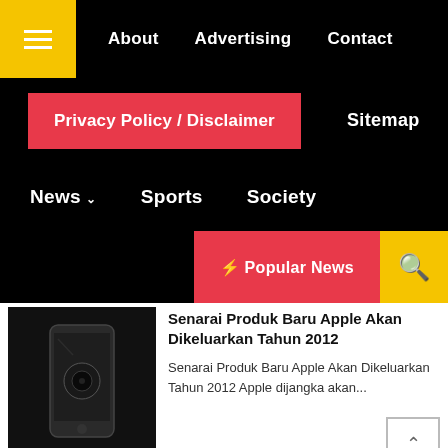About  Advertising  Contact
Privacy Policy / Disclaimer  Sitemap
News  Sports  Society
⚡ Popular News
Senarai Produk Baru Apple Akan Dikeluarkan Tahun 2012
Senarai Produk Baru Apple Akan Dikeluarkan Tahun 2012 Apple dijangka akan...
September 27, 2012
iPhone 5 Dilancarkan 12 September